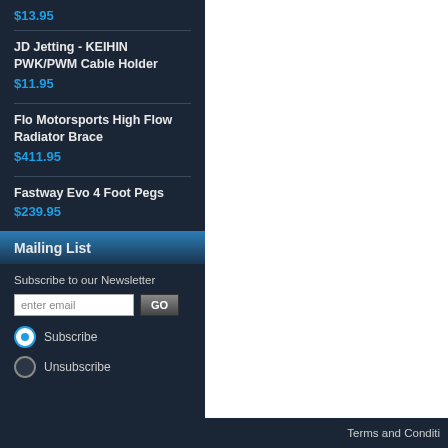$13.95
JD Jetting - KEIHIN PWK/PWM Cable Holder
$11.95
Flo Motorsports High Flow Radiator Brace
$411.95
Fastway Evo 4 Foot Pegs
$239.95
Mailing List
Subscribe to our Newsletter
enter email
Subscribe
Unsubscribe
Terms and Conditi